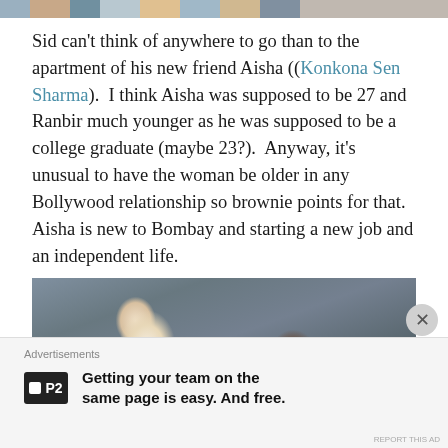[Figure (photo): Top cropped strip of a photo showing people]
Sid can't think of anywhere to go than to the apartment of his new friend Aisha ((Konkona Sen Sharma).  I think Aisha was supposed to be 27 and Ranbir much younger as he was supposed to be a college graduate (maybe 23?).  Anyway, it's unusual to have the woman be older in any Bollywood relationship so brownie points for that.  Aisha is new to Bombay and starting a new job and an independent life.
[Figure (photo): Movie still showing a young man in a white t-shirt sitting with a woman, in a room with light walls]
Advertisements
[Figure (logo): P2 app logo — black square with white P icon and P2 text]
Getting your team on the same page is easy. And free.